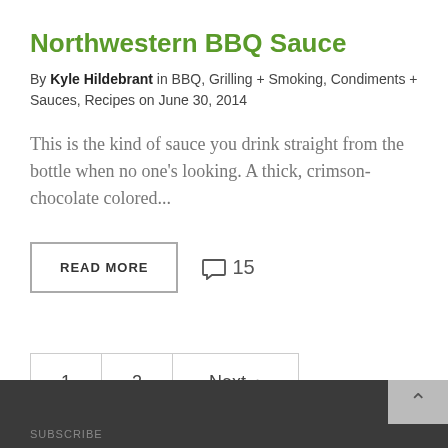Northwestern BBQ Sauce
By Kyle Hildebrant in BBQ, Grilling + Smoking, Condiments + Sauces, Recipes on June 30, 2014
This is the kind of sauce you drink straight from the bottle when no one's looking. A thick, crimson-chocolate colored...
READ MORE   💬 15
1   2   Next >
SUBSCRIBE